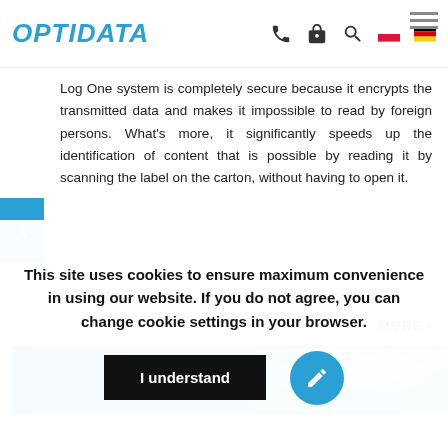OPTIDATA
Log One system is completely secure because it encrypts the transmitted data and makes it impossible to read by foreign persons. What's more, it significantly speeds up the identification of content that is possible by reading it by scanning the label on the carton, without having to open it.
MORE >
[Figure (photo): Blue sky with clouds image strip]
This site uses cookies to ensure maximum convenience in using our website. If you do not agree, you can change cookie settings in your browser.
I understand